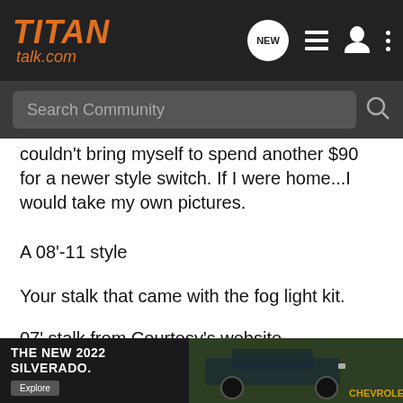TITAN talk.com
couldn't bring myself to spend another $90 for a newer style switch. If I were home...I would take my own pictures.
A 08'-11 style
Your stalk that came with the fog light kit.
07' stalk from Courtesy's website
Nissan Parts | NISMO and Nissan Accessories
Courtesy...
[Figure (screenshot): Advertisement banner for The New 2022 Silverado by Chevrolet. Shows truck in green background with Explore button.]